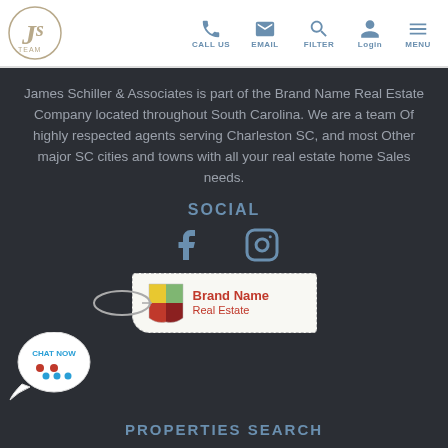JS Team logo | CALL US | EMAIL | FILTER | Login | MENU
James Schiller & Associates is part of the Brand Name Real Estate Company located throughout South Carolina. We are a team Of highly respected agents serving Charleston SC, and most Other major SC cities and towns with all your real estate home Sales needs.
SOCIAL
[Figure (logo): Facebook and Instagram social media icons]
[Figure (logo): Brand Name Real Estate logo tag with keyring]
[Figure (illustration): Chat Now speech bubble widget]
PROPERTIES SEARCH